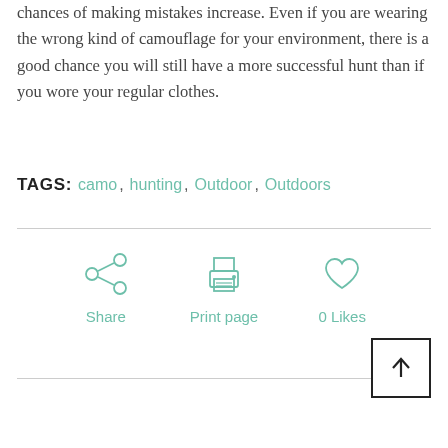chances of making mistakes increase. Even if you are wearing the wrong kind of camouflage for your environment, there is a good chance you will still have a more successful hunt than if you wore your regular clothes.
TAGS: camo, hunting, Outdoor, Outdoors
[Figure (infographic): Three icons in a row: a share icon (circles connected by lines), a printer icon, and a heart icon. Below each icon are labels: Share, Print page, 0 Likes. All icons and labels are in teal/mint green color.]
[Figure (other): A square back-to-top button with a black border containing an upward-pointing arrow.]